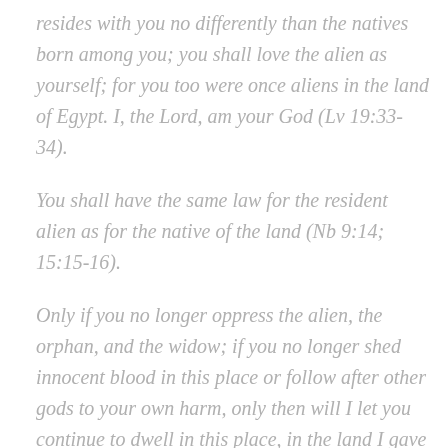resides with you no differently than the natives born among you; you shall love the alien as yourself; for you too were once aliens in the land of Egypt. I, the Lord, am your God (Lv 19:33-34).
You shall have the same law for the resident alien as for the native of the land (Nb 9:14; 15:15-16).
Only if you no longer oppress the alien, the orphan, and the widow; if you no longer shed innocent blood in this place or follow after other gods to your own harm, only then will I let you continue to dwell in this place, in the land I gave your ancestors long ago and forever (Jer 7:6-7).